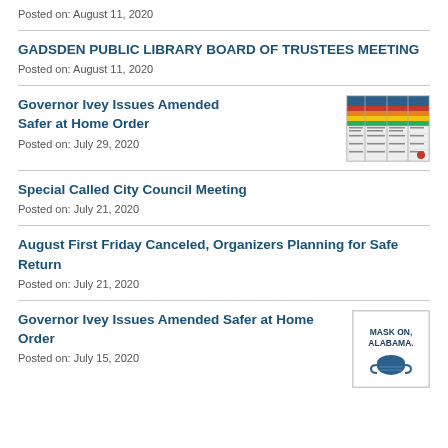Posted on: August 11, 2020
GADSDEN PUBLIC LIBRARY BOARD OF TRUSTEES MEETING
Posted on: August 11, 2020
Governor Ivey Issues Amended Safer at Home Order
Posted on: July 29, 2020
[Figure (screenshot): Screenshot of a colored chart/table document related to the Safer at Home order phases]
Special Called City Council Meeting
Posted on: July 21, 2020
August First Friday Canceled, Organizers Planning for Safe Return
Posted on: July 21, 2020
Governor Ivey Issues Amended Safer at Home Order
Posted on: July 15, 2020
[Figure (infographic): Mask On, Alabama. graphic with a face mask icon]